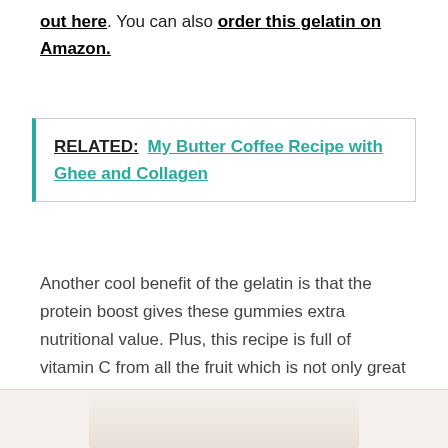out here. You can also order this gelatin on Amazon.
RELATED:  My Butter Coffee Recipe with Ghee and Collagen
Another cool benefit of the gelatin is that the protein boost gives these gummies extra nutritional value. Plus, this recipe is full of vitamin C from all the fruit which is not only great for your immune system, but also supports collagen building and the maintenance of cartilage, bones and teeth–so the gelatin and Vitamin C really go hand in hand! (source)
[Figure (photo): Bottom portion of a food photo, light cream/beige tones, partially visible]